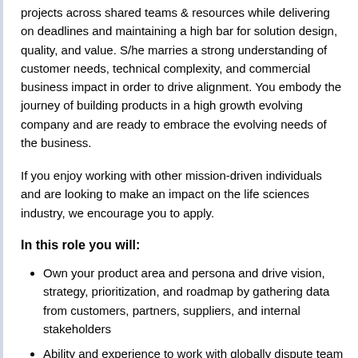projects across shared teams & resources while delivering on deadlines and maintaining a high bar for solution design, quality, and value. S/he marries a strong understanding of customer needs, technical complexity, and commercial business impact in order to drive alignment. You embody the journey of building products in a high growth evolving company and are ready to embrace the evolving needs of the business.
If you enjoy working with other mission-driven individuals and are looking to make an impact on the life sciences industry, we encourage you to apply.
In this role you will:
Own your product area and persona and drive vision, strategy, prioritization, and roadmap by gathering data from customers, partners, suppliers, and internal stakeholders
Ability and experience to work with globally dispute team
Drive and embody your user needs and